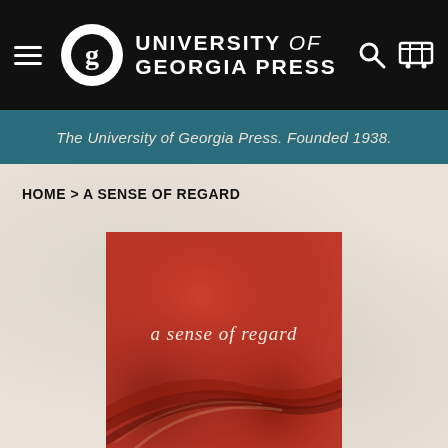[Figure (logo): University of Georgia Press navigation bar with hamburger menu, circular G logo, press name text, search and cart icons on black background]
The University of Georgia Press. Founded 1938.
HOME > A SENSE OF REGARD
[Figure (photo): Book cover for 'a sense of regard' — red/rust textured brushstroke background with white serif title text in center]